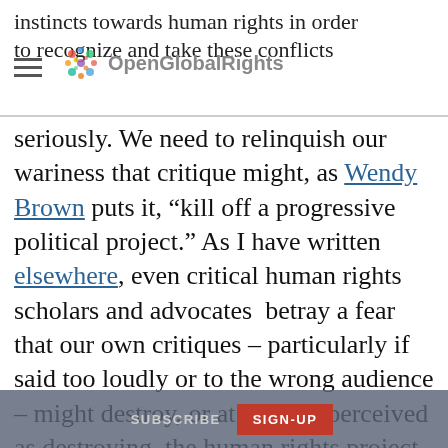instincts towards human rights in order to recognize and take these conflicts
seriously. We need to relinquish our wariness that critique might, as Wendy Brown puts it, “kill off a progressive political project.” As I have written elsewhere, even critical human rights scholars and advocates betray a fear that our own critiques – particularly if said too loudly or to the wrong audience – might destroy, or at least be perceived as destroying, the human rights project. In response, many temper their critiques or draw a line between advocacy and critique, out of concern
SUBSCRIBE  SIGN-UP